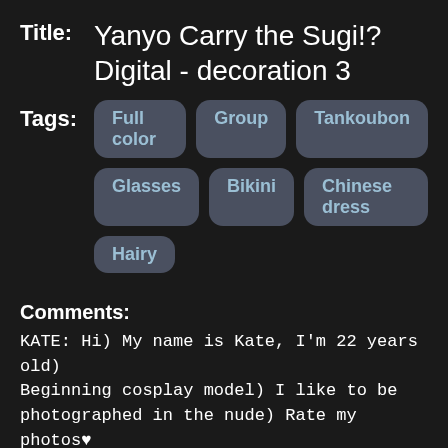Title: Yanyo Carry the Sugi!? Digital - decoration 3
Tags: Full color, Group, Tankoubon, Glasses, Bikini, Chinese dress, Hairy
Comments:
KATE: Hi) My name is Kate, I'm 22 years old) Beginning cosplay model) I like to be photographed in the nude) Rate my photos♥ goodgirls.cf ♥
KATE: Hi) My name is Kate, I'm 22 years old) Beginning cosplay model) I like to be photographed in the nude) Rate my photos♥